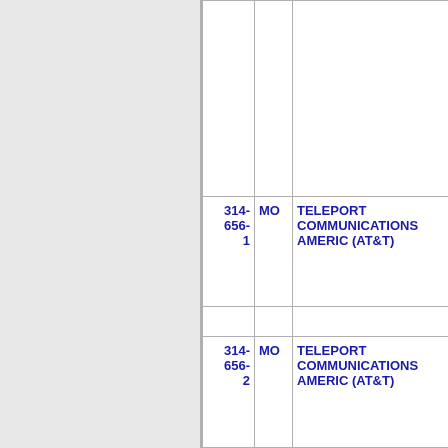| Number | State | Name | Code |
| --- | --- | --- | --- |
|  |  |  |  |
| 314-656-1 | MO | TELEPORT COMMUNICATIONS AMERIC (AT&T) | 72 |
|  |  |  |  |
| 314-656-2 | MO | TELEPORT COMMUNICATIONS AMERIC (AT&T) | 72 |